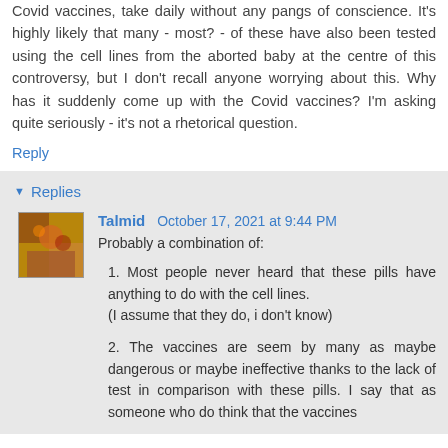Covid vaccines, take daily without any pangs of conscience. It's highly likely that many - most? - of these have also been tested using the cell lines from the aborted baby at the centre of this controversy, but I don't recall anyone worrying about this. Why has it suddenly come up with the Covid vaccines? I'm asking quite seriously - it's not a rhetorical question.
Reply
Replies
Talmid  October 17, 2021 at 9:44 PM
Probably a combination of:
1. Most people never heard that these pills have anything to do with the cell lines.
(I assume that they do, i don't know)
2. The vaccines are seem by many as maybe dangerous or maybe ineffective thanks to the lack of test in comparison with these pills. I say that as someone who do think that the vaccines